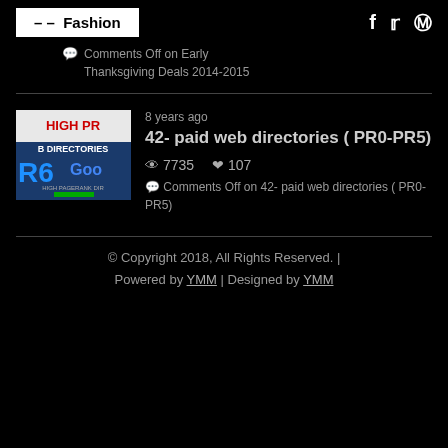– – Fashion
Comments Off on Early Thanksgiving Deals 2014-2015
8 years ago
42- paid web directories ( PR0-PR5)
7735  107
Comments Off on 42- paid web directories ( PR0-PR5)
© Copyright 2018, All Rights Reserved. | Powered by YMM | Designed by YMM